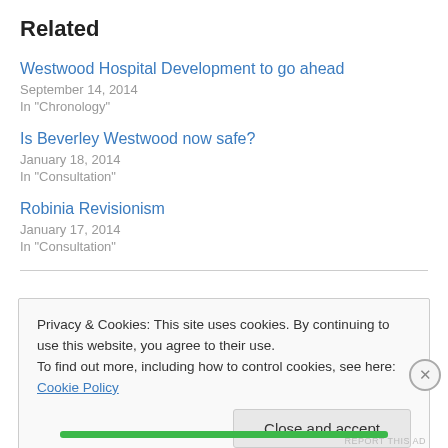Related
Westwood Hospital Development to go ahead
September 14, 2014
In "Chronology"
Is Beverley Westwood now safe?
January 18, 2014
In "Consultation"
Robinia Revisionism
January 17, 2014
In "Consultation"
Privacy & Cookies: This site uses cookies. By continuing to use this website, you agree to their use.
To find out more, including how to control cookies, see here: Cookie Policy